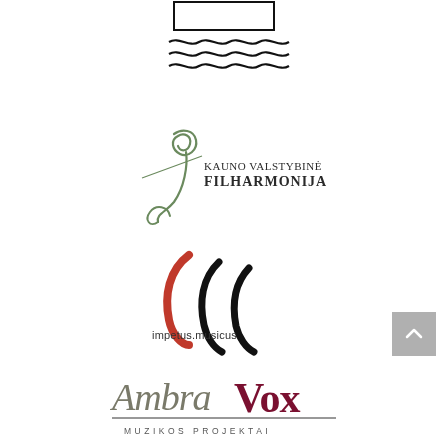[Figure (logo): Logo with rectangular border and three wavy horizontal lines beneath it (black)]
[Figure (logo): Kauno Valstybinė Filharmonija logo with stylized treble clef in sage/green and text 'KAUNO VALSTYBINĖ FILHARMONIJA']
[Figure (logo): impetus.musicus logo with red and black curved bracket shapes and text 'impetus.musicus' below]
[Figure (logo): AmbraVox Muzikos Projektai logo with stylized script 'Ambra' in gray and 'Vox' in dark red, with 'MUZIKOS PROJEKTAI' below in spaced capitals]